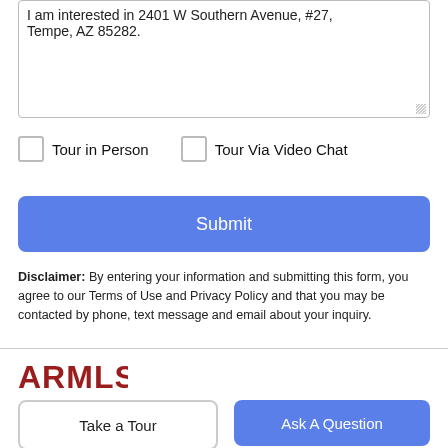I am interested in 2401 W Southern Avenue, #27, Tempe, AZ 85282.
Tour in Person
Tour Via Video Chat
Submit
Disclaimer: By entering your information and submitting this form, you agree to our Terms of Use and Privacy Policy and that you may be contacted by phone, text message and email about your inquiry.
[Figure (logo): ARMLS logo in dark red/maroon stylized text]
Take a Tour
Ask A Question